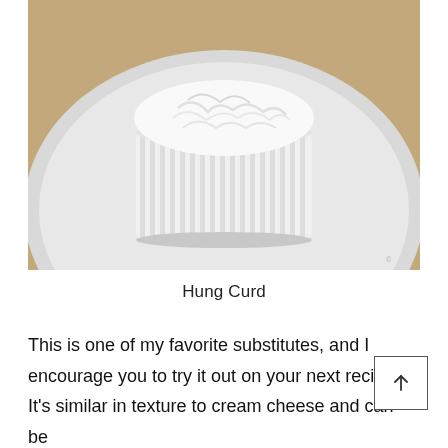[Figure (photo): A white ramekin filled with hung curd (thick strained yogurt), placed on a white plate. The curd has a fluffy, textured top. Background is a warm wooden surface.]
Hung Curd
This is one of my favorite substitutes, and I encourage you to try it out on your next recipe! It's similar in texture to cream cheese and can be